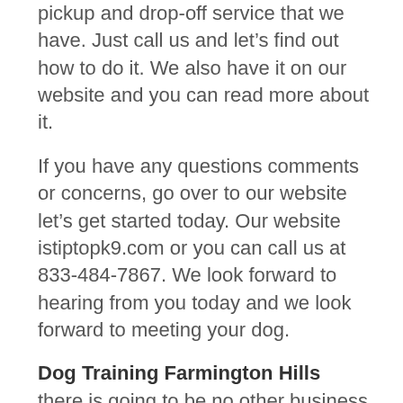pickup and drop-off service that we have. Just call us and let's find out how to do it. We also have it on our website and you can read more about it.
If you have any questions comments or concerns, go over to our website let's get started today. Our website istiptopk9.com or you can call us at 833-484-7867. We look forward to hearing from you today and we look forward to meeting your dog.
Dog Training Farmington Hills
there is going to be no other business that you are going to want to go through when it comes to Dog Training Farmington Hills.